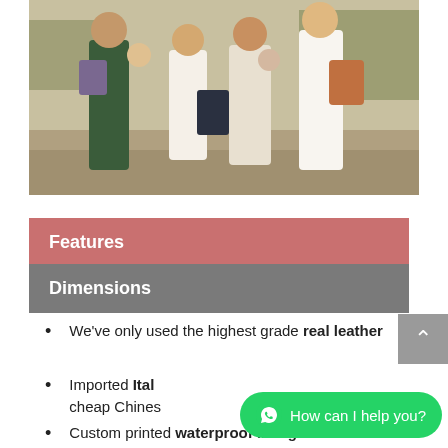[Figure (photo): Group of people standing outdoors on rocky terrain, carrying various bags and backpacks, with dry brush in background]
Features
Dimensions
We’ve only used the highest grade real leather
Imported Italian leather, not cheap Chinese leather
Custom printed waterproof lining